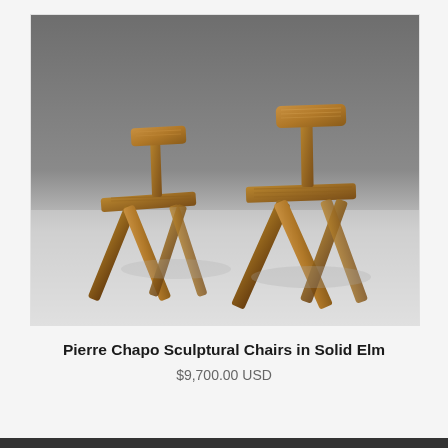[Figure (photo): Two Pierre Chapo sculptural dining chairs made of solid elm wood with distinctive X-shaped crossed leg bases. The chairs have simple curved back rests and flat seats. Photographed against a gradient grey-to-white studio background.]
Pierre Chapo Sculptural Chairs in Solid Elm
$9,700.00 USD